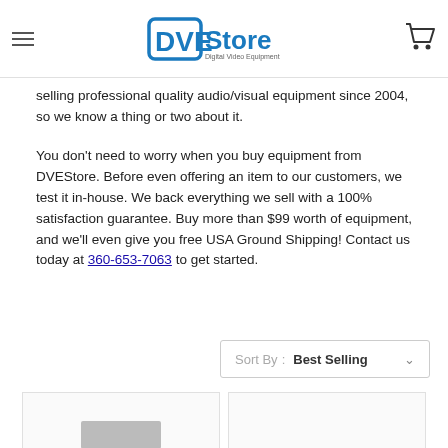DVEStore - Digital Video Equipment
selling professional quality audio/visual equipment since 2004, so we know a thing or two about it.
You don't need to worry when you buy equipment from DVEStore. Before even offering an item to our customers, we test it in-house. We back everything we sell with a 100% satisfaction guarantee. Buy more than $99 worth of equipment, and we'll even give you free USA Ground Shipping! Contact us today at 360-653-7063 to get started.
Sort By: Best Selling
[Figure (screenshot): Bottom portion of product grid showing two product cells, one with a partial product image visible]